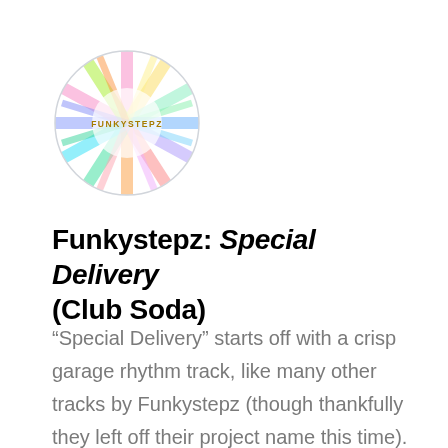[Figure (logo): Circular holographic/rainbow disc logo with text 'FUNKYSTEPZ' in the center]
Funkystepz: Special Delivery (Club Soda)
“Special Delivery” starts off with a crisp garage rhythm track, like many other tracks by Funkystepz (though thankfully they left off their project name this time). KT’s vocal lends it more of a pop